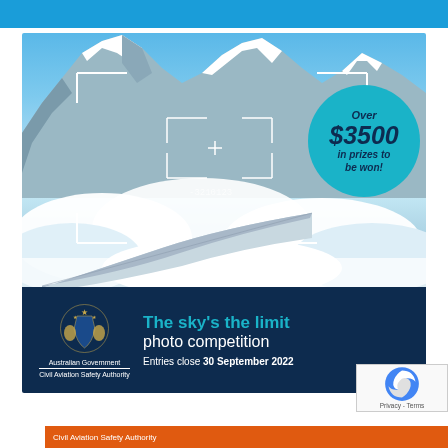[Figure (infographic): CASA (Civil Aviation Safety Authority) photo competition advertisement. Sky and mountain aerial view with aircraft wing visible. Camera viewfinder frame overlay. Teal circle with 'Over $3500 in prizes to be won!'. Dark navy bottom panel with Australian Government CASA logo, title 'The sky's the limit photo competition', and 'Entries close 30 September 2022'.]
The sky's the limit photo competition — Entries close 30 September 2022